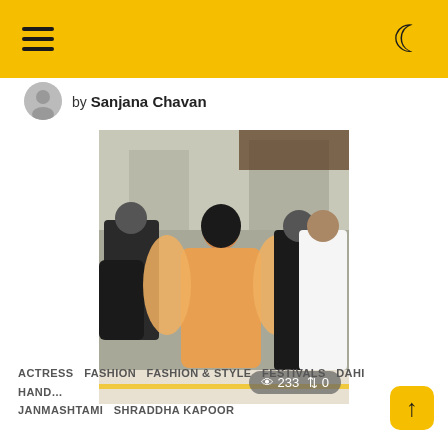Navigation header with hamburger menu and dark mode toggle
by Sanjana Chavan
[Figure (photo): Woman in orange anarkali/churidar outfit standing in a street crowd, surrounded by people, outdoors. Views: 233, Reposts: 0.]
ACTRESS  FASHION  FASHION & STYLE  FESTIVALS  DAHI HAND... JANMASHTAMI  SHRADDHA KAPOOR